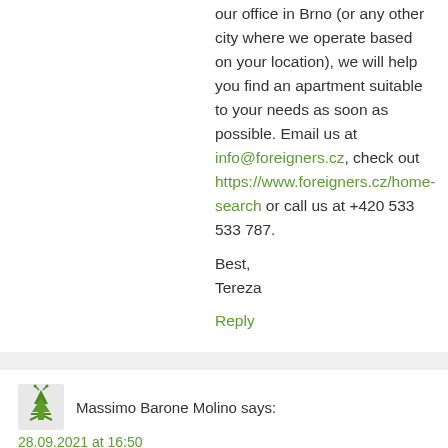our office in Brno (or any other city where we operate based on your location), we will help you find an apartment suitable to your needs as soon as possible. Email us at info@foreigners.cz, check out https://www.foreigners.cz/home-search or call us at +420 533 533 787.
Best,
Tereza
Reply
Massimo Barone Molino says:
28.09.2021 at 16:50
Buongiorno, cercavo una stanza con un solo letto….è disponibile alla Domeq 2 e quale il prezzo? Grazie